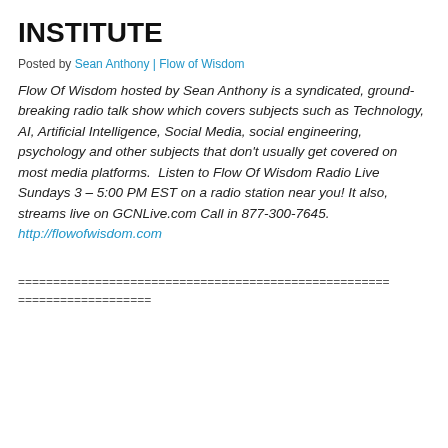INSTITUTE
Posted by Sean Anthony | Flow of Wisdom
Flow Of Wisdom hosted by Sean Anthony is a syndicated, ground-breaking radio talk show which covers subjects such as Technology, AI, Artificial Intelligence, Social Media, social engineering, psychology and other subjects that don't usually get covered on most media platforms.  Listen to Flow Of Wisdom Radio Live Sundays 3 – 5:00 PM EST on a radio station near you! It also, streams live on GCNLive.com Call in 877-300-7645. http://flowofwisdom.com
=====================================================
===================